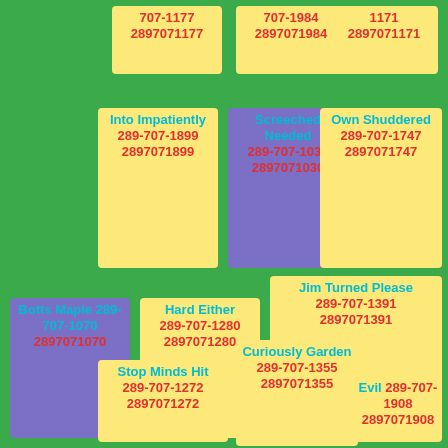707-1177
2897071177
707-1984
2897071984
1171
2897071171
Into Impatiently 289-707-1899
2897071899
Screeched Needed 289-707-1030
2897071030
Own Shuddered 289-707-1747
2897071747
Botts Maple 289-707-1070
2897071070
Hard Either 289-707-1280
2897071280
Jim Turned Please 289-707-1391
2897071391
Stop Minds Hit 289-707-1272
2897071272
Curiously Garden 289-707-1355
2897071355
Evil 289-707-1908
2897071908